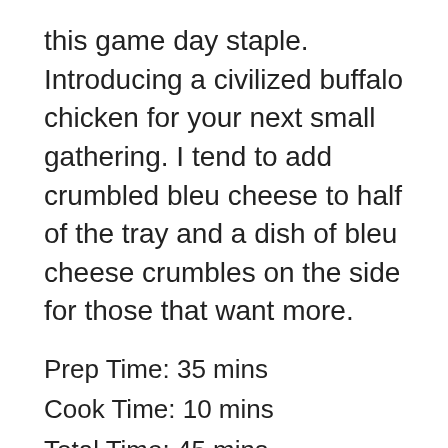this game day staple. Introducing a civilized buffalo chicken for your next small gathering. I tend to add crumbled bleu cheese to half of the tray and a dish of bleu cheese crumbles on the side for those that want more.
Prep Time: 35 mins
Cook Time: 10 mins
Total Time: 45 mins
Yield: 15-20 butter cups
Ingredients
3 large skinless boneless chicken